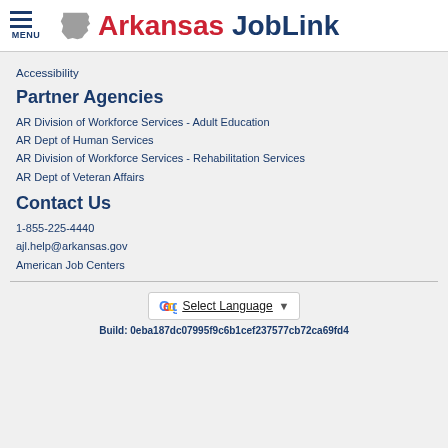MENU — Arkansas JobLink
Accessibility
Partner Agencies
AR Division of Workforce Services - Adult Education
AR Dept of Human Services
AR Division of Workforce Services - Rehabilitation Services
AR Dept of Veteran Affairs
Contact Us
1-855-225-4440
ajl.help@arkansas.gov
American Job Centers
Select Language | Build: 0eba187dc07995f9c6b1cef237577cb72ca69fd4